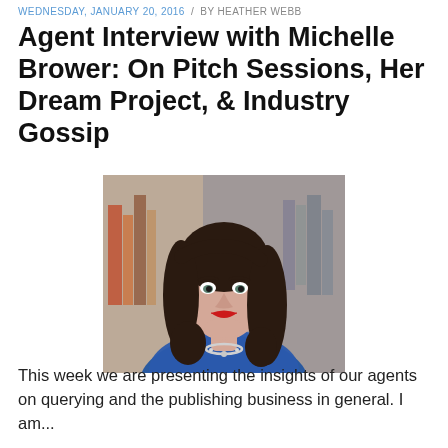WEDNESDAY, JANUARY 20, 2016 / BY HEATHER WEBB
Agent Interview with Michelle Brower: On Pitch Sessions, Her Dream Project, & Industry Gossip
[Figure (photo): Portrait photo of Michelle Brower, a woman with dark brown curly hair, red lipstick, wearing a blue top and silver necklace, posed in front of a bookshelf background.]
This week we are presenting the insights of our agents on querying and the publishing business in general. I am...